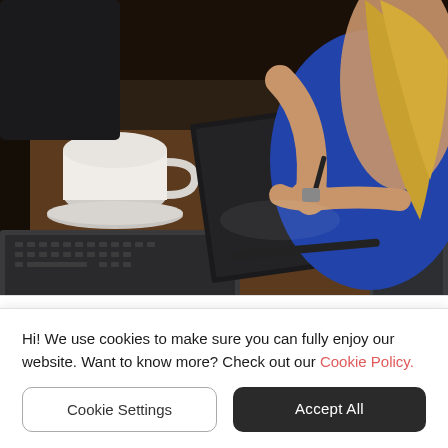[Figure (photo): People sitting around a table with laptops, notebooks, and a coffee mug, appearing to be in a work or study meeting. One person in a blue shirt is writing in a spiral notebook.]
Job Search
8 Things You Have to Research Before Your Job Interview
Hi! We use cookies to make sure you can fully enjoy our website. Want to know more? Check out our Cookie Policy.
Cookie Settings
Accept All